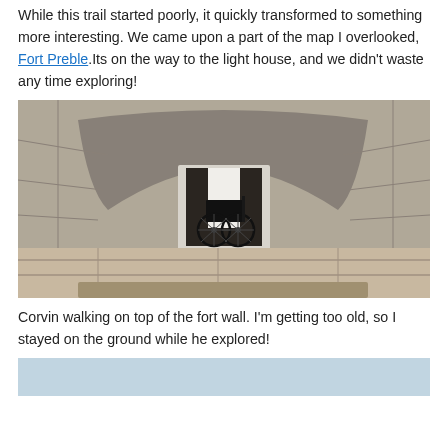While this trail started poorly, it quickly transformed to something more interesting. We came upon a part of the map I overlooked, Fort Preble.Its on the way to the light house, and we didn't waste any time exploring!
[Figure (photo): A wheelchair parked inside a stone archway/alcove at Fort Preble, showing large granite block walls and an arched stone ceiling.]
Corvin walking on top of the fort wall. I'm getting too old, so I stayed on the ground while he explored!
[Figure (photo): Partial view of another photo at the bottom of the page, showing a light blue/sky toned image, partially cut off.]